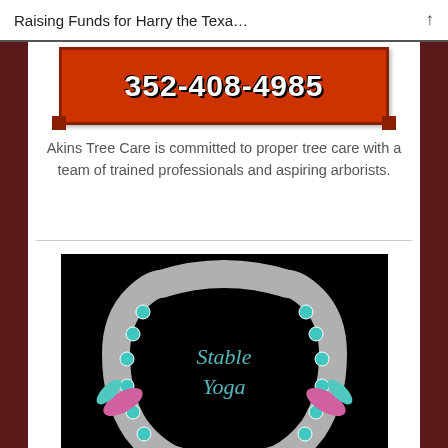Raising Funds for Harry the Texa…
[Figure (logo): Red banner with white bold phone number 352-408-4985 for Akins Tree Care]
Akins Tree Care is committed to proper tree care with a team of trained professionals and aspiring arborists.
[Figure (logo): Stable Yoga logo: decorated horseshoe with teal beads, pink and teal feathers, hanging ornaments, on black background with cursive 'Stable Yoga' text]